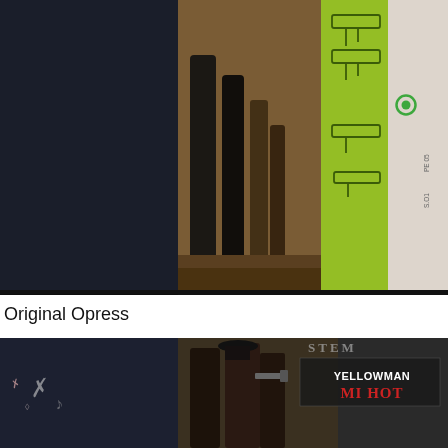[Figure (photo): Composite photo showing album covers and a vinyl record. Top portion shows legs of people standing, a green album cover with gun illustration, and a white strip on the right. Middle shows a Scorpio Records vinyl record label for Yellowman 'Mi Hot' with track listing: 1. Pretty Girl, 2. Hit The Road Jack, 3. Would A Like It, 4. Tank Undo, 5. Red Light District, 6. Girl Dem Love Me, Side B 11870. Bottom shows another album cover for Yellowman Mi Hot.]
Original Opress